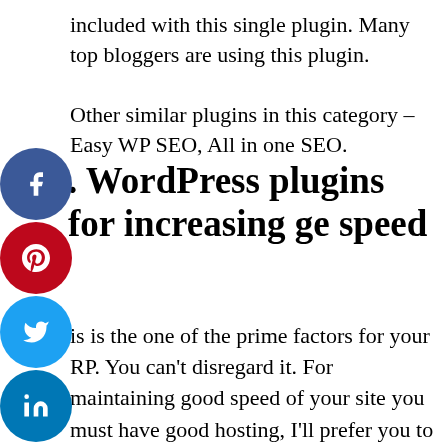included with this single plugin. Many top bloggers are using this plugin.
Other similar plugins in this category – Easy WP SEO, All in one SEO.
. WordPress plugins for increasing ge speed
is is the one of the prime factors for your RP. You can't disregard it. For maintaining good speed of your site you must have good hosting, I'll prefer you to just go for digital ocean cloud hosting. Here, you may start amazing plan with $5 only. It will provide you better speed than other. But they provide only